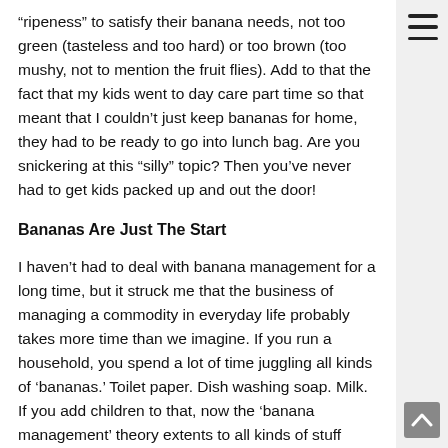“ripeness” to satisfy their banana needs, not too green (tasteless and too hard) or too brown (too mushy, not to mention the fruit flies). Add to that the fact that my kids went to day care part time so that meant that I couldn’t just keep bananas for home, they had to be ready to go into lunch bag. Are you snickering at this “silly” topic? Then you’ve never had to get kids packed up and out the door!
Bananas Are Just The Start
I haven’t had to deal with banana management for a long time, but it struck me that the business of managing a commodity in everyday life probably takes more time than we imagine. If you run a household, you spend a lot of time juggling all kinds of ‘bananas.’ Toilet paper. Dish washing soap. Milk. If you add children to that, now the ‘banana management’ theory extents to all kinds of stuff